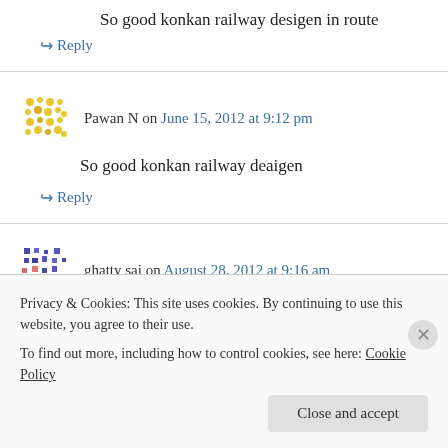So good konkan railway desigen in route
↪ Reply
Pawan N on June 15, 2012 at 9:12 pm
So good konkan railway deaigen
↪ Reply
ghatty sai on August 28, 2012 at 9:16 am
Privacy & Cookies: This site uses cookies. By continuing to use this website, you agree to their use. To find out more, including how to control cookies, see here: Cookie Policy
Close and accept